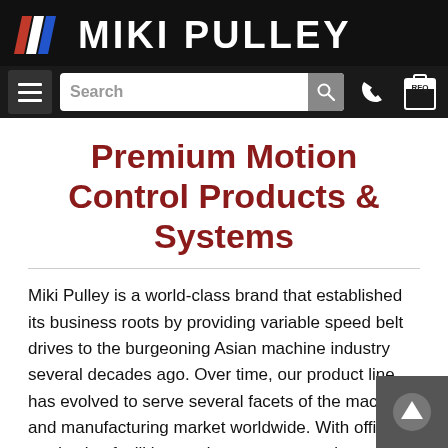[Figure (logo): Miki Pulley logo with stylized '1' marks in red and blue on black background, company name in white bold text]
[Figure (screenshot): Navigation bar with hamburger menu, search box, phone icon, and RFQ clipboard icon on dark background]
Premium Motion Control Products & Systems
Miki Pulley is a world-class brand that established its business roots by providing variable speed belt drives to the burgeoning Asian machine industry several decades ago. Over time, our product line has evolved to serve several facets of the machine and manufacturing market worldwide. With offices, production facilities, and partner companies spanning the globe, our customer service, engineering expertise is at the forefront of the world